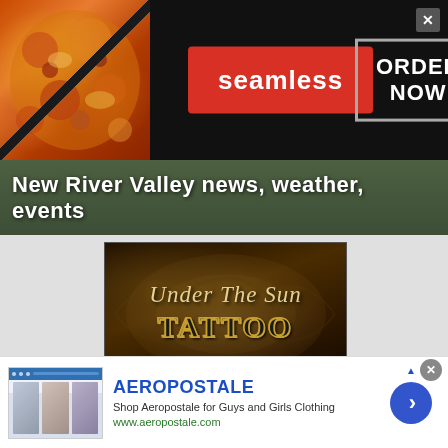[Figure (screenshot): Seamless food delivery advertisement banner with pizza imagery, red Seamless logo button, and ORDER NOW box on dark background]
[Figure (screenshot): Website header showing 'New River Valley news, weather, events' text over an outdoor background image]
[Figure (screenshot): Under The Sun Tattoo advertisement with ornate text on dark background]
[Figure (screenshot): Sinkland Farms Pumpkin Festival advertisement with THU-SUN label and photo of people]
[Figure (screenshot): Aeropostale advertisement banner at bottom with brand name, tagline 'Shop Aeropostale for Guys and Girls Clothing', URL www.aeropostale.com, and a blue arrow button]